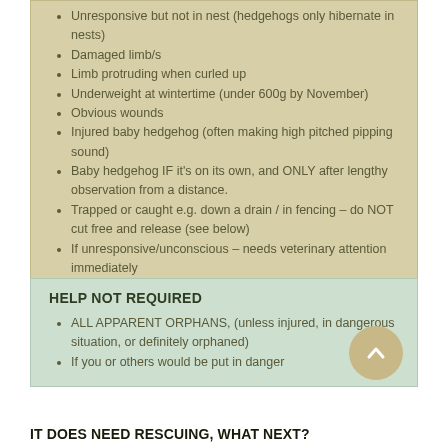Unresponsive but not in nest (hedgehogs only hibernate in nests)
Damaged limb/s
Limb protruding when curled up
Underweight at wintertime (under 600g by November)
Obvious wounds
Injured baby hedgehog (often making high pitched pipping sound)
Baby hedgehog IF it's on its own, and ONLY after lengthy observation from a distance.
Trapped or caught e.g. down a drain / in fencing – do NOT cut free and release (see below)
If unresponsive/unconscious – needs veterinary attention immediately
HELP NOT REQUIRED
ALL APPARENT ORPHANS, (unless injured, in dangerous situation, or definitely orphaned)
If you or others would be put in danger
IT DOES NEED RESCUING, WHAT NEXT?